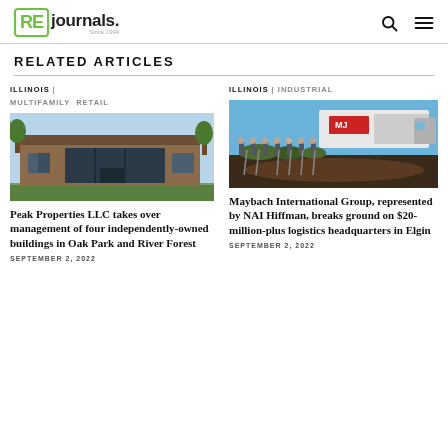RE journals
RELATED ARTICLES
ILLINOIS | MULTIFAMILY RETAIL
[Figure (photo): Exterior of a brick commercial building with large glass windows and a flat roof, trees visible in the background.]
Peak Properties LLC takes over management of four independently-owned buildings in Oak Park and River Forest
SEPTEMBER 2, 2022
ILLINOIS | INDUSTRIAL
[Figure (photo): Group of people at a groundbreaking ceremony, standing in a row with shovels in front of a field, with a truck bearing MJ logo in the background.]
Maybach International Group, represented by NAI Hiffman, breaks ground on $20-million-plus logistics headquarters in Elgin
SEPTEMBER 2, 2022